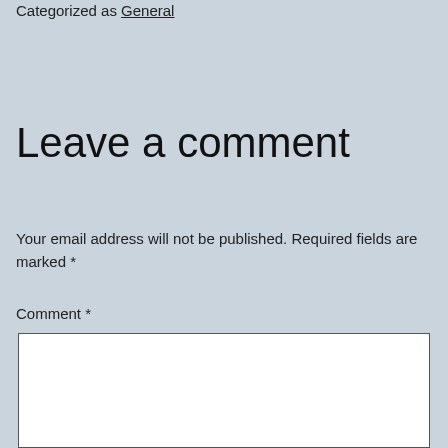Categorized as General
Leave a comment
Your email address will not be published. Required fields are marked *
Comment *